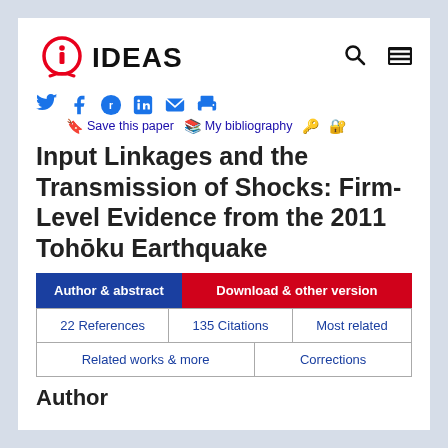[Figure (logo): IDEAS logo with circular i icon in red and underline, followed by bold IDEAS text]
Save this paper | My bibliography
Input Linkages and the Transmission of Shocks: Firm-Level Evidence from the 2011 Tohōku Earthquake
Author & abstract | Download & other version | 22 References | 135 Citations | Most related | Related works & more | Corrections
Author